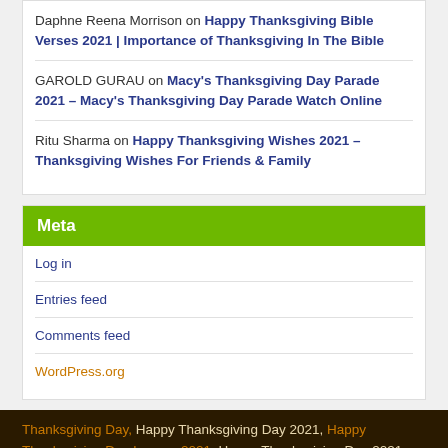Daphne Reena Morrison on Happy Thanksgiving Bible Verses 2021 | Importance of Thanksgiving In The Bible
GAROLD GURAU on Macy's Thanksgiving Day Parade 2021 – Macy's Thanksgiving Day Parade Watch Online
Ritu Sharma on Happy Thanksgiving Wishes 2021 – Thanksgiving Wishes For Friends & Family
Meta
Log in
Entries feed
Comments feed
WordPress.org
Thanksgiving Day, Happy Thanksgiving Day 2021, Happy Thanksgiving Day Images 2021, Happy Thanksgiving Day 2021, Happy Thanksgiving Day Photos 2021, Happy Thanksgiving Day Coloring Pages!! Thanksgiving Day QUotes Images, Happy Thanksgiving Day Pictures 2021, Happy